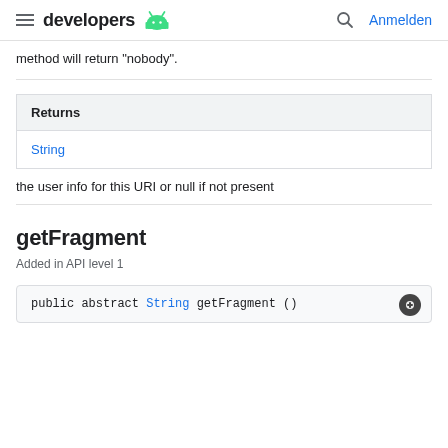developers [android logo] Anmelden
method will return "nobody".
| Returns |
| --- |
| String |
| the user info for this URI or null if not present |
getFragment
Added in API level 1
public abstract String getFragment ()